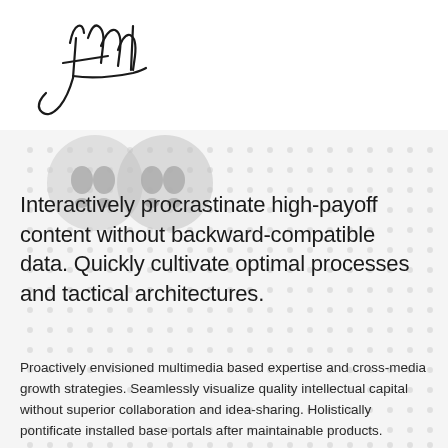[Figure (illustration): A handwritten signature in black ink, cursive style, positioned in upper left of white header area]
Interactively procrastinate high-payoff content without backward-compatible data. Quickly cultivate optimal processes and tactical architectures.
Proactively envisioned multimedia based expertise and cross-media growth strategies. Seamlessly visualize quality intellectual capital without superior collaboration and idea-sharing. Holistically pontificate installed base portals after maintainable products.